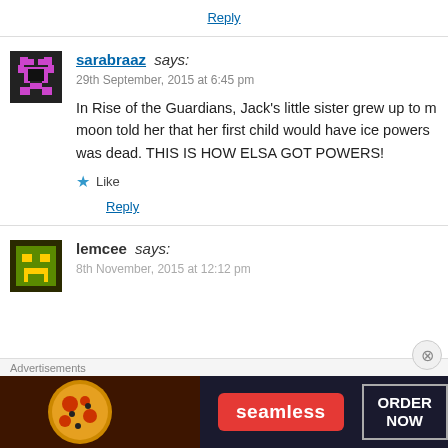Reply
sarabraaz says:
29th September, 2015 at 6:45 pm

In Rise of the Guardians, Jack's little sister grew up to be... moon told her that her first child would have ice powers... was dead. THIS IS HOW ELSA GOT POWERS!
Like
Reply
lemcee says:
8th November, 2015 at 12:12 pm
[Figure (screenshot): Seamless food ordering advertisement banner with pizza image, seamless logo, and ORDER NOW button]